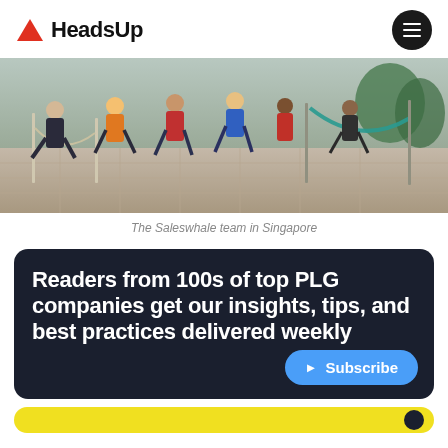HeadsUp
[Figure (photo): Group photo of the Saleswhale team sitting outdoors in Singapore, on hammocks and chairs on a stone-paved area]
The Saleswhale team in Singapore
Readers from 100s of top PLG companies get our insights, tips, and best practices delivered weekly
Subscribe